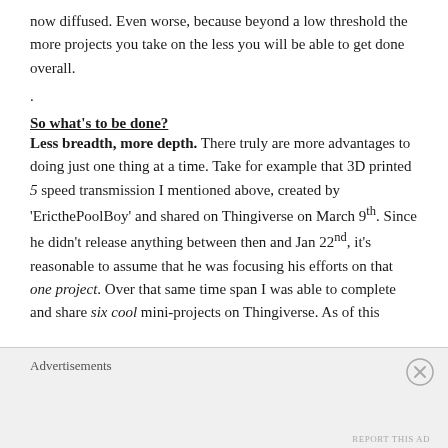now diffused. Even worse, because beyond a low threshold the more projects you take on the less you will be able to get done overall.
.
So what's to be done?
Less breadth, more depth. There truly are more advantages to doing just one thing at a time. Take for example that 3D printed 5 speed transmission I mentioned above, created by 'EricthePoolBoy' and shared on Thingiverse on March 9th. Since he didn't release anything between then and Jan 22nd, it's reasonable to assume that he was focusing his efforts on that one project. Over that same time span I was able to complete and share six cool mini-projects on Thingiverse. As of this
Advertisements